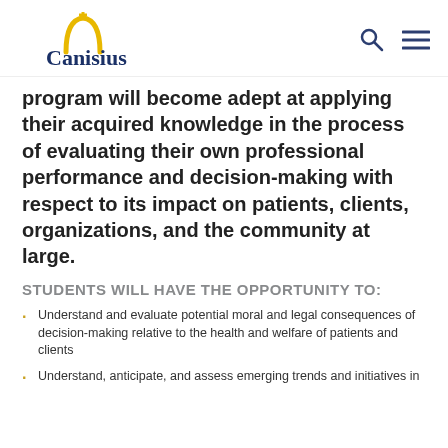[Figure (logo): Canisius University logo with golden dome and dark blue text]
program will become adept at applying their acquired knowledge in the process of evaluating their own professional performance and decision-making with respect to its impact on patients, clients, organizations, and the community at large.
STUDENTS WILL HAVE THE OPPORTUNITY TO:
Understand and evaluate potential moral and legal consequences of decision-making relative to the health and welfare of patients and clients
Understand, anticipate, and assess emerging trends and initiatives in...